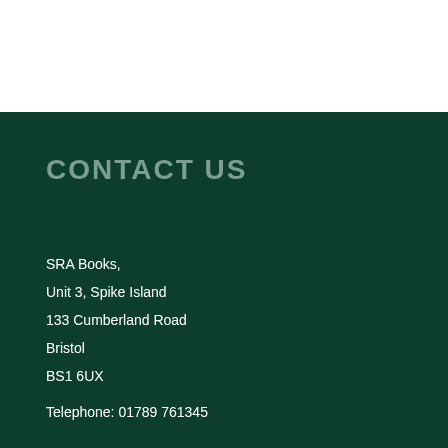CONTACT US
SRA Books,
Unit 3, Spike Island
133 Cumberland Road
Bristol
BS1 6UX
Telephone: 01789 761345